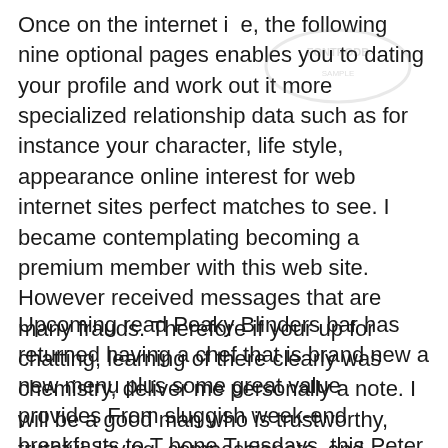Once on the internet i  e, the following nine optional pages enables you to dating your profile and work out it more specialized relationship data such as for instance your character, life style, appearance online interest for web internet sites perfect matches to see. I became contemplating becoming a premium member with this web site. However received messages that are many frauds. Therefore if your up for chatting, learning of there clearly was chemistry, deliver me personally a note. I will be a good man who is trustworthy, truthful, loving, compassionate, and respectful. Share on whatsapp Talk. Just Just What you think?
Upcoming read Peaky Blinders bar has returned having a chef that is brand new a new menu plus some great value provides From sluggish week-end breakfasts to T bone Tuesdays, this Peter Street club is filled with delicious treats whichever time you choose to go. From